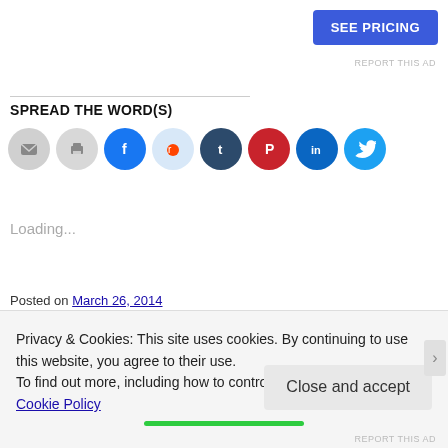[Figure (other): Blue 'SEE PRICING' button in top right]
REPORT THIS AD
SPREAD THE WORD(S)
[Figure (infographic): Row of social media sharing icon circles: email, print, Facebook, Reddit, Tumblr, Pinterest, LinkedIn, Twitter]
Loading...
Posted on March 26, 2014
Posted in Uncategorized
Tagged chores, humor, people, questions, what's up with that wednesday
Privacy & Cookies: This site uses cookies. By continuing to use this website, you agree to their use.
To find out more, including how to control cookies, see here: Cookie Policy
Close and accept